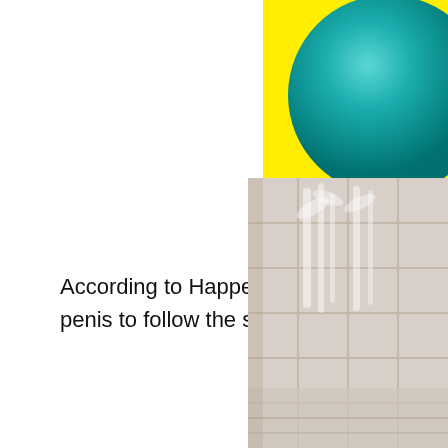[Figure (illustration): A teal/turquoise sphere on a bright yellow background, partially cropped at the top-right corner of the page.]
According to Happeh Theory, the penis is following the penis to follow the shape of one of the cy
[Figure (photo): A faded/washed-out photograph of a bathroom or tiled shower area with bamboo design on the tiles, positioned at the bottom-right of the page, partially cropped.]